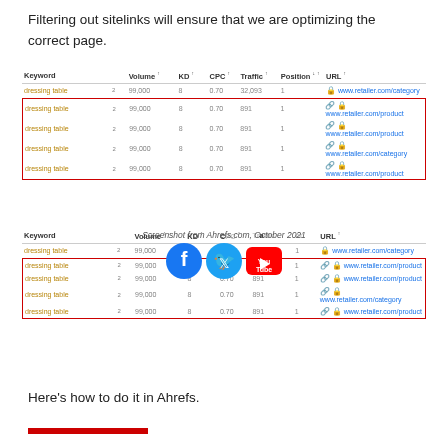Filtering out sitelinks will ensure that we are optimizing the correct page.
[Figure (screenshot): Ahrefs keyword table showing 'dressing table' keyword rows with some sitelink rows highlighted in red box. Top table set.]
[Figure (screenshot): Duplicate Ahrefs keyword table with social media icons (Facebook, Twitter, YouTube) overlaid and watermark 'Screenshot from Ahrefs.com, October 2021'. Bottom table set.]
Here's how to do it in Ahrefs.
[Figure (other): Red bar/button at bottom]